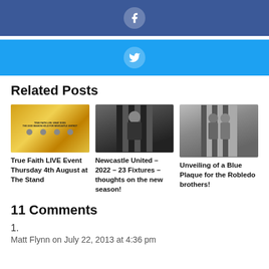[Figure (other): Facebook share button bar with 'f' icon]
[Figure (other): Twitter share button bar with bird icon]
Related Posts
[Figure (other): True Faith LIVE Event thumbnail - promotional graphic with faces]
True Faith LIVE Event Thursday 4th August at The Stand
[Figure (photo): Newcastle United footballer celebrating in black and white striped kit]
Newcastle United – 2022 – 23 Fixtures – thoughts on the new season!
[Figure (photo): Black and white photo of two men in Newcastle United striped kit]
Unveiling of a Blue Plaque for the Robledo brothers!
11 Comments
1.
Matt Flynn on July 22, 2013 at 4:36 pm